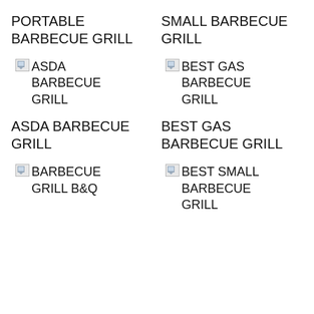PORTABLE BARBECUE GRILL
SMALL BARBECUE GRILL
[Figure (other): Broken image placeholder labeled ASDA BARBECUE GRILL]
[Figure (other): Broken image placeholder labeled BEST GAS BARBECUE GRILL]
ASDA BARBECUE GRILL
BEST GAS BARBECUE GRILL
[Figure (other): Broken image placeholder labeled BARBECUE GRILL B&Q]
[Figure (other): Broken image placeholder labeled BEST SMALL BARBECUE GRILL]